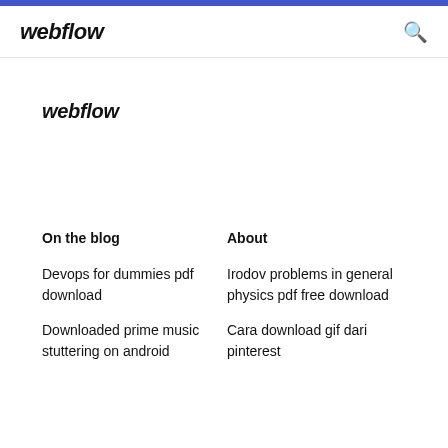webflow
webflow
On the blog
About
Devops for dummies pdf download
Irodov problems in general physics pdf free download
Downloaded prime music stuttering on android
Cara download gif dari pinterest